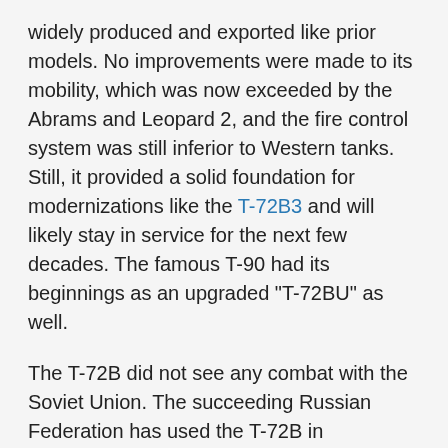widely produced and exported like prior models. No improvements were made to its mobility, which was now exceeded by the Abrams and Leopard 2, and the fire control system was still inferior to Western tanks. Still, it provided a solid foundation for modernizations like the T-72B3 and will likely stay in service for the next few decades. The famous T-90 had its beginnings as an upgraded "T-72BU" as well.
The T-72B did not see any combat with the Soviet Union. The succeeding Russian Federation has used the T-72B in Chechenya, Georgia, and elsewhere. Other customers and current users of the T-72B include Armenia, Azerbaijan, Belarus, Laos, Morocco, and Syria.
Devblog